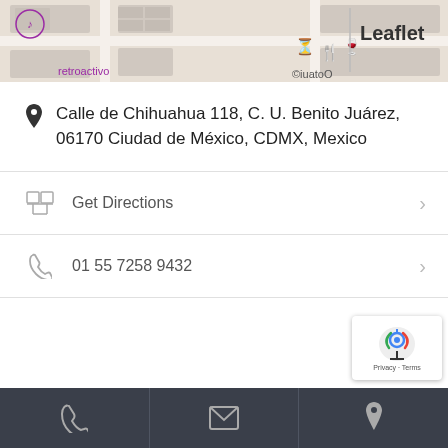[Figure (map): Street map showing location with Leaflet attribution, retroactivo label visible, map tiles with building outlines and restaurant/bar icons]
Calle de Chihuahua 118, C. U. Benito Juárez, 06170 Ciudad de México, CDMX, Mexico
Get Directions
01 55 7258 9432
[Figure (infographic): Dark footer bar with phone, email, and location icons; reCAPTCHA badge in bottom right corner]